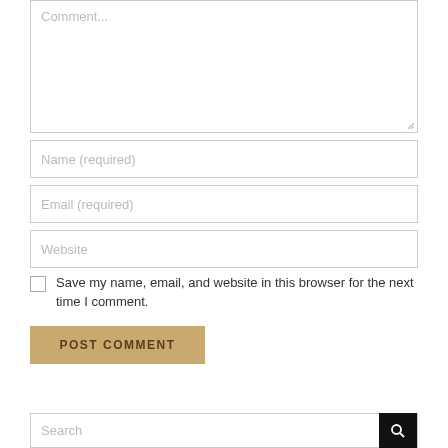[Figure (screenshot): Comment form with textarea placeholder 'Comment...', resize handle at bottom-right]
Name (required)
Email (required)
Website
Save my name, email, and website in this browser for the next time I comment.
POST COMMENT
Search